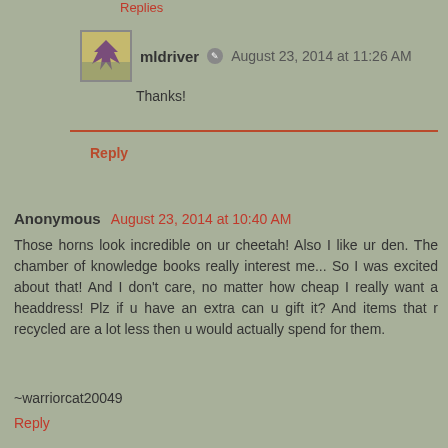Replies
mldriver  August 23, 2014 at 11:26 AM
Thanks!
Reply
Anonymous August 23, 2014 at 10:40 AM
Those horns look incredible on ur cheetah! Also I like ur den. The chamber of knowledge books really interest me... So I was excited about that! And I don't care, no matter how cheap I really want a headdress! Plz if u have an extra can u gift it? And items that r recycled are a lot less then u would actually spend for them.

~warriorcat20049
Reply